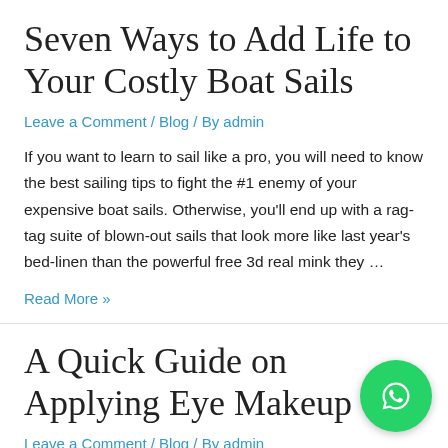Seven Ways to Add Life to Your Costly Boat Sails
Leave a Comment / Blog / By admin
If you want to learn to sail like a pro, you will need to know the best sailing tips to fight the #1 enemy of your expensive boat sails. Otherwise, you'll end up with a rag-tag suite of blown-out sails that look more like last year's bed-linen than the powerful free 3d real mink they …
Read More »
A Quick Guide on Applying Eye Makeup
Leave a Comment / Blog / By admin